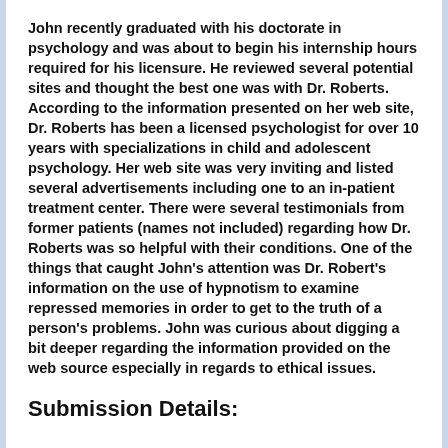John recently graduated with his doctorate in psychology and was about to begin his internship hours required for his licensure. He reviewed several potential sites and thought the best one was with Dr. Roberts. According to the information presented on her web site, Dr. Roberts has been a licensed psychologist for over 10 years with specializations in child and adolescent psychology. Her web site was very inviting and listed several advertisements including one to an in-patient treatment center. There were several testimonials from former patients (names not included) regarding how Dr. Roberts was so helpful with their conditions. One of the things that caught John's attention was Dr. Robert's information on the use of hypnotism to examine repressed memories in order to get to the truth of a person's problems. John was curious about digging a bit deeper regarding the information provided on the web source especially in regards to ethical issues.
Submission Details: